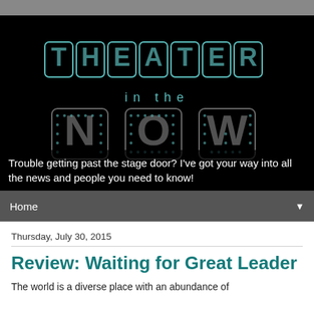[Figure (logo): Theater in the Now logo — large outlined dot-matrix letters spelling THEATER on top and NOW below with 'in the' in the middle, all in teal/gray on black background]
Trouble getting past the stage door? I've got your way into all the news and people you need to know!
Home
Thursday, July 30, 2015
Review: Waiting for Great Leader
The world is a diverse place with an abundance of